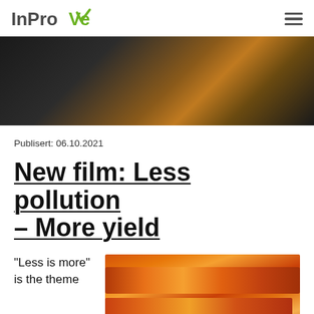InProVe [logo with hamburger menu]
[Figure (photo): Dark background photo, possibly a bokeh/blurred image with warm amber/orange tones in the center against a dark background]
Publisert: 06.10.2021
New film: Less pollution – More yield
“Less is more” is the theme
[Figure (photo): Close-up photo of orange carrots showing their long tapered bodies with texture details]